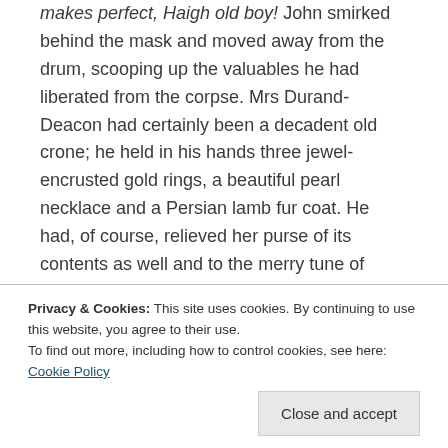This time it had all been so easy! Well, practice makes perfect, Haigh old boy! John smirked behind the mask and moved away from the drum, scooping up the valuables he had liberated from the corpse. Mrs Durand-Deacon had certainly been a decadent old crone; he held in his hands three jewel-encrusted gold rings, a beautiful pearl necklace and a Persian lamb fur coat. He had, of course, relieved her purse of its contents as well and to the merry tune of several pound notes and a handful of shillings. A fine haul, indeed!
Privacy & Cookies: This site uses cookies. By continuing to use this website, you agree to their use. To find out more, including how to control cookies, see here: Cookie Policy
Close and accept
style and claw like false nails, Olive Durand Deacon